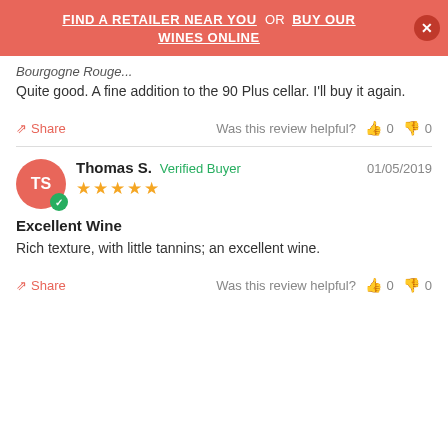FIND A RETAILER NEAR YOU OR BUY OUR WINES ONLINE
Quite good. A fine addition to the 90 Plus cellar. I'll buy it again.
Share  Was this review helpful? 0 0
Thomas S. Verified Buyer 01/05/2019 ★★★★★
Excellent Wine
Rich texture, with little tannins; an excellent wine.
Share  Was this review helpful? 0 0